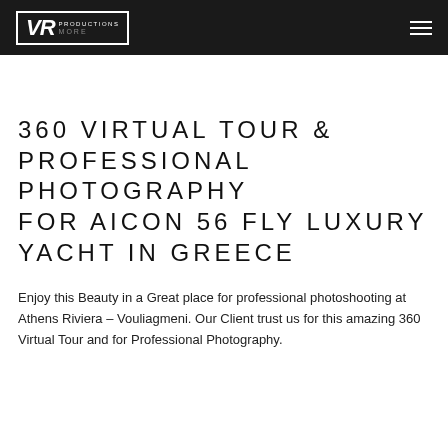VR PRODUCTIONS
360 VIRTUAL TOUR & PROFESSIONAL PHOTOGRAPHY FOR AICON 56 FLY LUXURY YACHT IN GREECE
Enjoy this Beauty in a Great place for professional photoshooting at Athens Riviera – Vouliagmeni. Our Client trust us for this amazing 360 Virtual Tour and for Professional Photography.